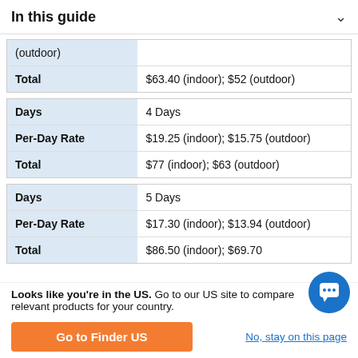In this guide
| (outdoor) |  |
| Total | $63.40 (indoor); $52 (outdoor) |
| Days | 4 Days |
| Per-Day Rate | $19.25 (indoor); $15.75 (outdoor) |
| Total | $77 (indoor); $63 (outdoor) |
| Days | 5 Days |
| Per-Day Rate | $17.30 (indoor); $13.94 (outdoor) |
| Total | $86.50 (indoor); $69.70 (outdoor) |
Looks like you're in the US. Go to our US site to compare relevant products for your country.
Go to Finder US
No, stay on this page